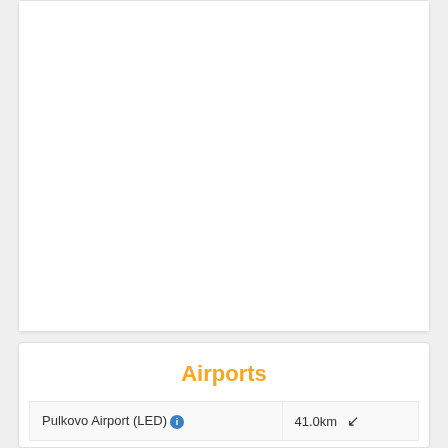[Figure (other): Large white card area, mostly blank/empty, representing a map or image placeholder]
Airports
| Pulkovo Airport (LED) ℹ | 41.0km ↙ |